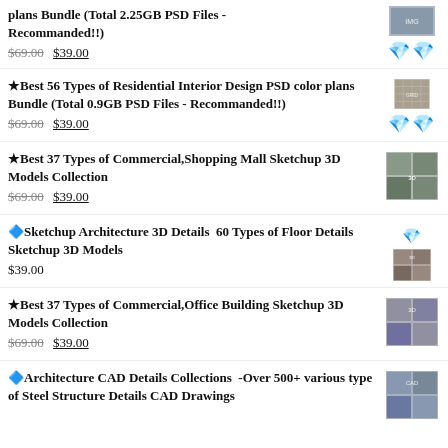plans Bundle (Total 2.25GB PSD Files - Recommanded!!) $69.00 $39.00
★Best 56 Types of Residential Interior Design PSD color plans Bundle (Total 0.9GB PSD Files - Recommanded!!) $69.00 $39.00
★Best 37 Types of Commercial,Shopping Mall Sketchup 3D Models Collection $69.00 $39.00
🔷Sketchup Architecture 3D Details  60 Types of Floor Details Sketchup 3D Models $39.00
★Best 37 Types of Commercial,Office Building Sketchup 3D Models Collection $69.00 $39.00
🔷Architecture CAD Details Collections  -Over 500+ various type of Steel Structure Details CAD Drawings